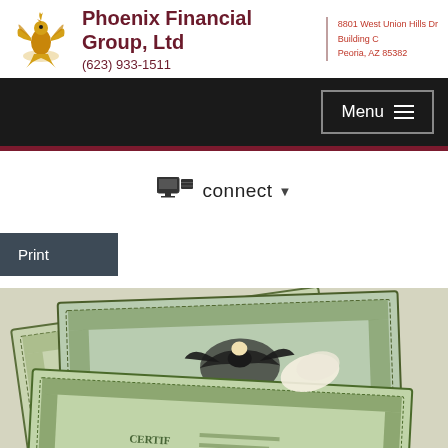[Figure (logo): Phoenix Financial Group phoenix bird logo in gold]
Phoenix Financial Group, Ltd
(623) 933-1511
8801 West Union Hills Dr
Building C
Peoria, AZ 85382
[Figure (screenshot): Dark navigation bar with Menu hamburger button]
[Figure (infographic): Connect dropdown with server/database icon]
Print
[Figure (photo): Stock certificates fanned out, green engravings with eagle emblem]